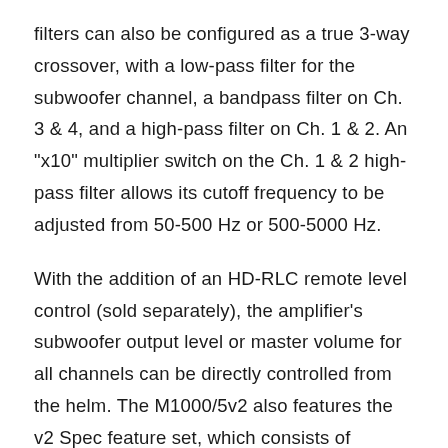filters can also be configured as a true 3-way crossover, with a low-pass filter for the subwoofer channel, a bandpass filter on Ch. 3 & 4, and a high-pass filter on Ch. 1 & 2. An "x10" multiplier switch on the Ch. 1 & 2 high-pass filter allows its cutoff frequency to be adjusted from 50-500 Hz or 500-5000 Hz.
With the addition of an HD-RLC remote level control (sold separately), the amplifier's subwoofer output level or master volume for all channels can be directly controlled from the helm. The M1000/5v2 also features the v2 Spec feature set, which consists of automatic turn-on capability (via signal sensing or DC-offset sensing), and a dual-range differential-balanced input section able to handle a wide range of input voltage